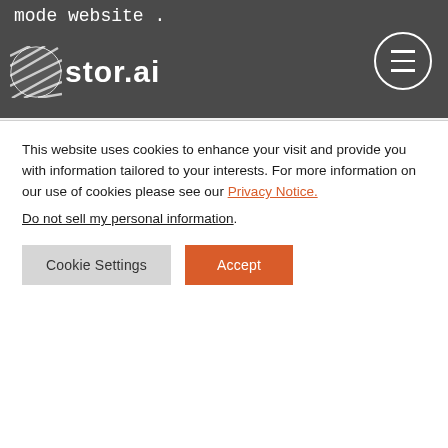stor.ai header with logo and menu button
mode website .
(https://thor.io/classic-landing/digital-agency/)
2. New: bottom bar layout settings added.
3. Improved: grid shortcodes/templates, fancy title and bottom bar converted to CSS Grid.
This website uses cookies to enhance your visit and provide you with information tailored to your interests. For more information on our use of cookies please see our Privacy Notice.
Do not sell my personal information.
Cookie Settings  Accept